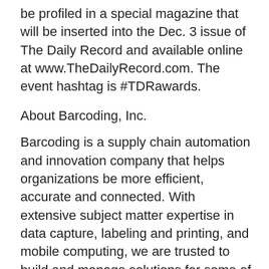be profiled in a special magazine that will be inserted into the Dec. 3 issue of The Daily Record and available online at www.TheDailyRecord.com. The event hashtag is #TDRawards.
About Barcoding, Inc.
Barcoding is a supply chain automation and innovation company that helps organizations be more efficient, accurate and connected. With extensive subject matter expertise in data capture, labeling and printing, and mobile computing, we are trusted to build and manage solutions for some of the best IT and operations teams in the world. Founded in 1998, Barcoding is headquartered in Baltimore, Md., with offices across North America (Chicago, Houston, Seattle, Montreal, Toronto and Vancouver). For more information, visit www.barcoding.com.
About The Daily Record